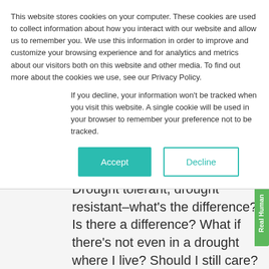This website stores cookies on your computer. These cookies are used to collect information about how you interact with our website and allow us to remember you. We use this information in order to improve and customize your browsing experience and for analytics and metrics about our visitors both on this website and other media. To find out more about the cookies we use, see our Privacy Policy.
If you decline, your information won't be tracked when you visit this website. A single cookie will be used in your browser to remember your preference not to be tracked.
[Figure (other): Two buttons: 'Accept' (teal filled) and 'Decline' (teal outlined)]
Drought tolerant, drought resistant–what's the difference? Is there a difference? What if there's not even in a drought where I live? Should I still care?
The terms “drought resistant” and